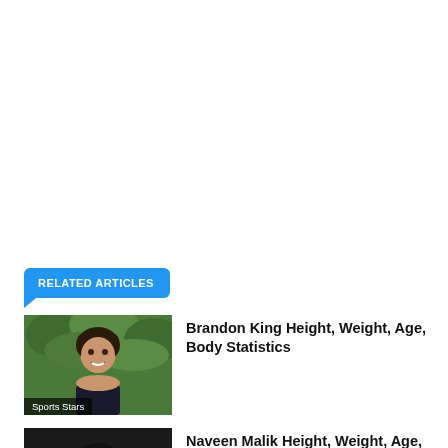RELATED ARTICLES
[Figure (photo): Photo of Brandon King, a young man smiling outdoors with green foliage background, labeled 'Sports Stars']
Brandon King Height, Weight, Age, Body Statistics
[Figure (photo): Photo of Naveen Malik (partially visible at bottom)]
Naveen Malik Height, Weight, Age, Body